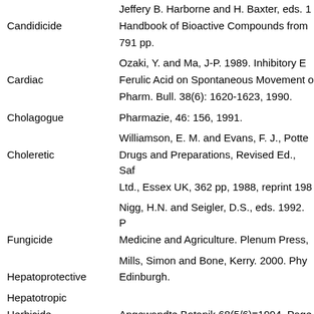Candidicide
Cardiac
Cholagogue
Choleretic
Fungicide
Hepatoprotective
Hepatotropic
Herbicide
Hydrocholerectic
Hypolipidemic
Immunostimulant
Insectifuge